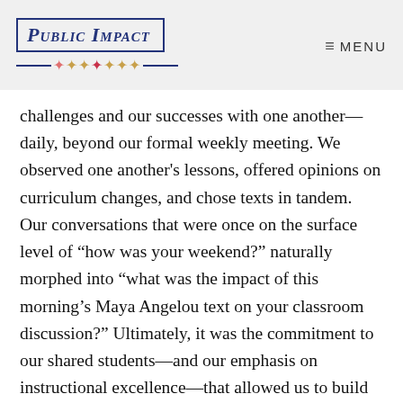PUBLIC IMPACT   ≡ MENU
challenges and our successes with one another—daily, beyond our formal weekly meeting. We observed one another's lessons, offered opinions on curriculum changes, and chose texts in tandem. Our conversations that were once on the surface level of “how was your weekend?” naturally morphed into “what was the impact of this morning’s Maya Angelou text on your classroom discussion?” Ultimately, it was the commitment to our shared students—and our emphasis on instructional excellence—that allowed us to build the collaborative culture that ensured our success.